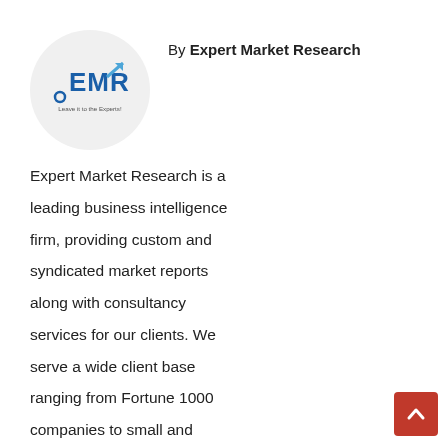[Figure (logo): EMR (Expert Market Research) circular logo with blue EMR text and tagline 'Leave it to the Experts!']
By Expert Market Research
Expert Market Research is a leading business intelligence firm, providing custom and syndicated market reports along with consultancy services for our clients. We serve a wide client base ranging from Fortune 1000 companies to small and medium enterprises. Our reports cover over 100 industries across established